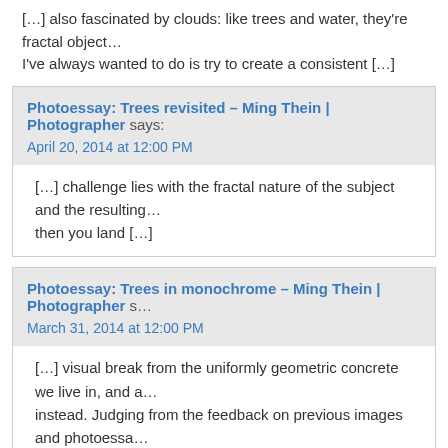[…] also fascinated by clouds: like trees and water, they're fractal objects… I've always wanted to do is try to create a consistent […]
Photoessay: Trees revisited – Ming Thein | Photographer says:
April 20, 2014 at 12:00 PM
[…] challenge lies with the fractal nature of the subject and the resulting… then you land […]
Photoessay: Trees in monochrome – Ming Thein | Photographer s…
March 31, 2014 at 12:00 PM
[…] visual break from the uniformly geometric concrete we live in, and a… instead. Judging from the feedback on previous images and photoessa…